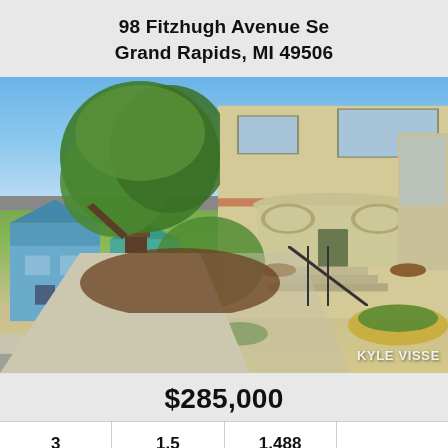98 Fitzhugh Avenue Se
Grand Rapids, MI 49506
[Figure (photo): Exterior photo of a two-story stucco house at 98 Fitzhugh Avenue Se, Grand Rapids MI, with a rounded porch, green landscaping, large trees, and neighboring houses visible. Watermark reads KYLE VISSE.]
$285,000
| 3 | 1.5 | 1,488 |  |